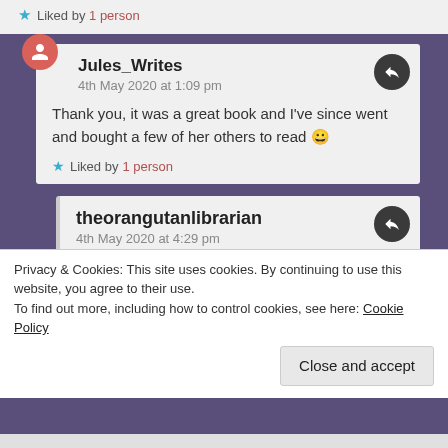★ Liked by 1 person
Jules_Writes
4th May 2020 at 1:09 pm
Thank you, it was a great book and I've since went and bought a few of her others to read 😀
★ Liked by 1 person
theorangutanlibrarian
4th May 2020 at 4:29 pm
Privacy & Cookies: This site uses cookies. By continuing to use this website, you agree to their use.
To find out more, including how to control cookies, see here: Cookie Policy